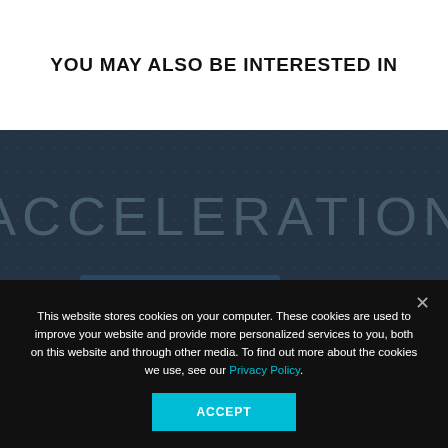YOU MAY ALSO BE INTERESTED IN
[Figure (photo): Dark blue/grey background with large embossed or printed text 'ACCELERATION' visible on what appears to be a book cover or publication surface]
This website stores cookies on your computer. These cookies are used to improve your website and provide more personalized services to you, both on this website and through other media. To find out more about the cookies we use, see our Privacy Policy.
ACCEPT